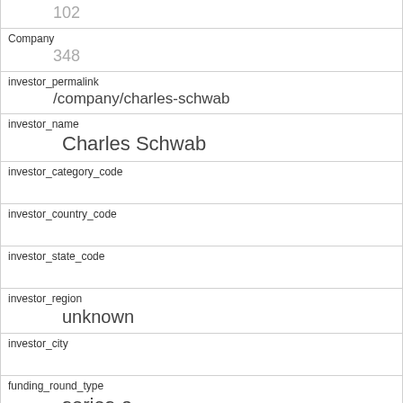|  | 102 |
| Company | 348 |
| investor_permalink | /company/charles-schwab |
| investor_name | Charles Schwab |
| investor_category_code |  |
| investor_country_code |  |
| investor_state_code |  |
| investor_region | unknown |
| investor_city |  |
| funding_round_type | series-a |
| funded_at | 1212451200 |